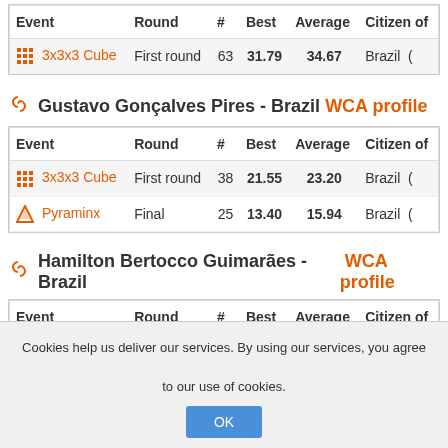| Event | Round | # | Best | Average | Citizen of |
| --- | --- | --- | --- | --- | --- |
| 3x3x3 Cube | First round | 63 | 31.79 | 34.67 | Brazil |
Gustavo Gonçalves Pires - Brazil WCA profile
| Event | Round | # | Best | Average | Citizen of |
| --- | --- | --- | --- | --- | --- |
| 3x3x3 Cube | First round | 38 | 21.55 | 23.20 | Brazil |
| Pyraminx | Final | 25 | 13.40 | 15.94 | Brazil |
Hamilton Bertocco Guimarães - Brazil WCA profile
| Event | Round | # | Best | Average | Citizen of |
| --- | --- | --- | --- | --- | --- |
| 3x3x3 Cube | First round | 39 | 17.87 | 23.90 | Brazil |
Cookies help us deliver our services. By using our services, you agree to our use of cookies.